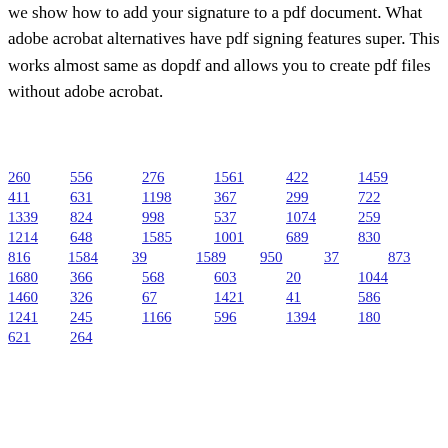we show how to add your signature to a pdf document. What adobe acrobat alternatives have pdf signing features super. This works almost same as dopdf and allows you to create pdf files without adobe acrobat.
260
556
276
1561
422
1459
411
631
1198
367
299
722
1339
824
998
537
1074
259
1214
648
1585
1001
689
830
816
1584
39
1589
950
37
873
1680
366
568
603
20
1044
1460
326
67
1421
41
586
1241
245
1166
596
1394
180
621
264